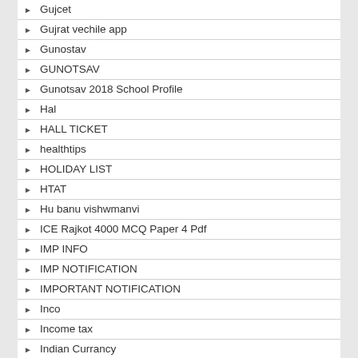Gujcet
Gujrat vechile app
Gunostav
GUNOTSAV
Gunotsav 2018 School Profile
Hal
HALL TICKET
healthtips
HOLIDAY LIST
HTAT
Hu banu vishwmanvi
ICE Rajkot 4000 MCQ Paper 4 Pdf
IMP INFO
IMP NOTIFICATION
IMPORTANT NOTIFICATION
Inco
Income tax
Indian Currancy
Indian Currency